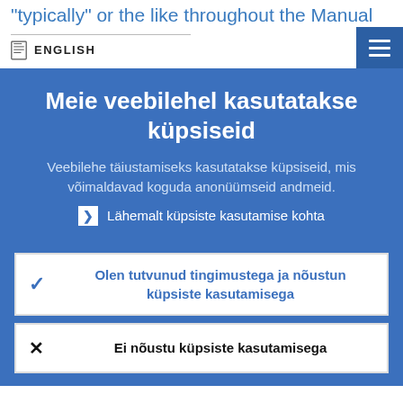"typically" or the like throughout the Manual
ENGLISH
Meie veebilehel kasutatakse küpsiseid
Veebilehe täiustamiseks kasutatakse küpsiseid, mis võimaldavad koguda anonüümseid andmeid.
Lähemalt küpsiste kasutamise kohta
Olen tutvunud tingimustega ja nõustun küpsiste kasutamisega
Ei nõustu küpsiste kasutamisega